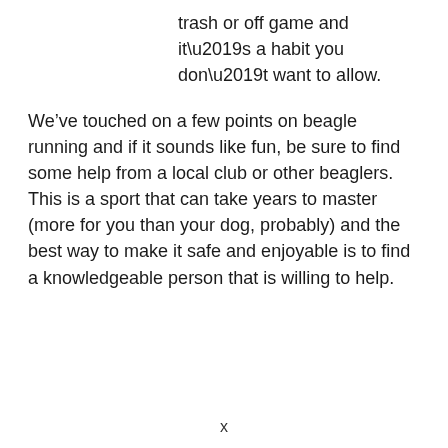trash or off game and it’s a habit you don’t want to allow.
We’ve touched on a few points on beagle running and if it sounds like fun, be sure to find some help from a local club or other beaglers. This is a sport that can take years to master (more for you than your dog, probably) and the best way to make it safe and enjoyable is to find a knowledgeable person that is willing to help.
x